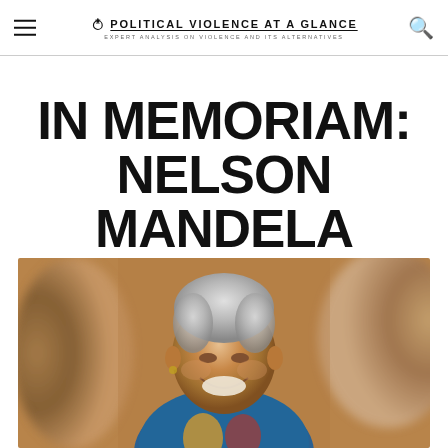POLITICAL VIOLENCE AT A GLANCE — EXPERT ANALYSIS ON VIOLENCE AND ITS ALTERNATIVES
IN MEMORIAM: NELSON MANDELA
[Figure (photo): Photograph of Nelson Mandela smiling, wearing a colorful shirt, with blurred figures in the background]